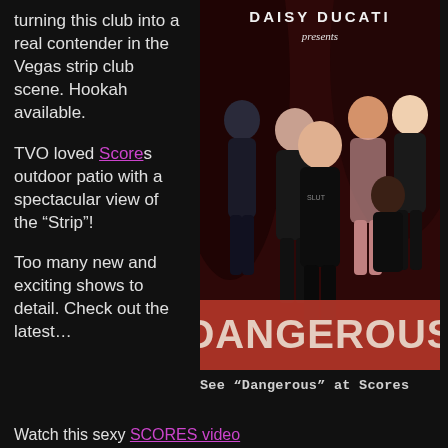turning this club into a real contender in the Vegas strip club scene. Hookah available.
TVO loved Scores outdoor patio with a spectacular view of the “Strip”!
Too many new and exciting shows to detail. Check out the latest…
[Figure (photo): Promotional movie poster for 'Dangerous' presented by Daisy Ducati, featuring five performers in lingerie against a dark red background with large red text 'DANGEROUS' at the bottom.]
See “Dangerous” at Scores
Watch this sexy SCORES video